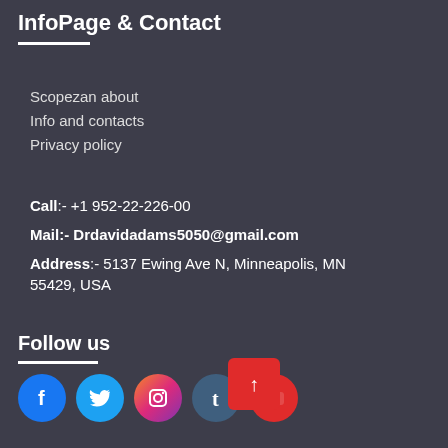InfoPage & Contact
Scopezan about
Info and contacts
Privacy policy
Call:- +1 952-22-226-00
Mail:- Drdavidadams5050@gmail.com
Address:- 5137 Ewing Ave N, Minneapolis, MN 55429, USA
Follow us
[Figure (other): Social media icons: Facebook, Twitter, Instagram, Tumblr, YouTube. Red scroll-to-top button at bottom right.]